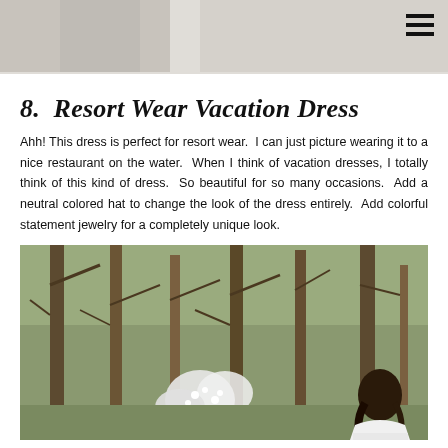[Figure (photo): Top banner photo partially visible, showing light/neutral tones, with a hamburger menu icon in the top right corner.]
8.  Resort Wear Vacation Dress
Ahh! This dress is perfect for resort wear.  I can just picture wearing it to a nice restaurant on the water.  When I think of vacation dresses, I totally think of this kind of dress.  So beautiful for so many occasions.  Add a neutral colored hat to change the look of the dress entirely.  Add colorful statement jewelry for a completely unique look.
[Figure (photo): A woman with dark hair seen from behind, wearing a white dress, standing among bare winter trees with white blossoms, in an outdoor forest setting.]